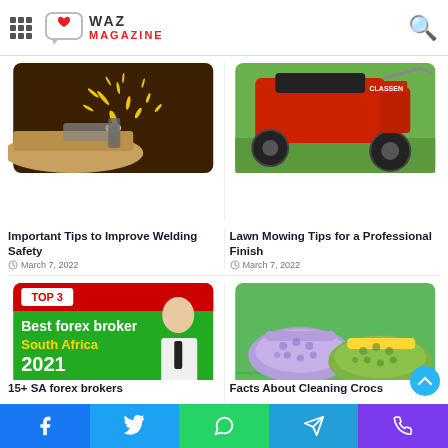WAZ MAGAZINE
[Figure (photo): Close-up of metal grinding with sparks flying]
Important Tips to Improve Welding Safety
March 7, 2022
[Figure (photo): Red lawn mower / spreader machine on grass]
Lawn Mowing Tips for a Professional Finish
March 7, 2022
[Figure (photo): Best forex broker South Africa 2021 promotional banner with man in suit]
15+ SA forex brokers
[Figure (photo): Purple and green Crocs sandals on grass]
Facts About Cleaning Crocs
Facebook | Twitter | WhatsApp | Telegram | Phone